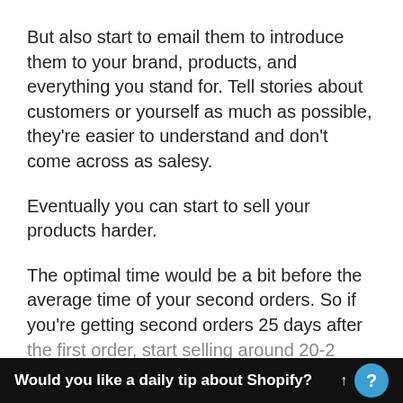But also start to email them to introduce them to your brand, products, and everything you stand for. Tell stories about customers or yourself as much as possible, they're easier to understand and don't come across as salesy.
Eventually you can start to sell your products harder.
The optimal time would be a bit before the average time of your second orders. So if you're getting second orders 25 days after the first order, start selling around 20-22 days.
Would you like a daily tip about Shopify?